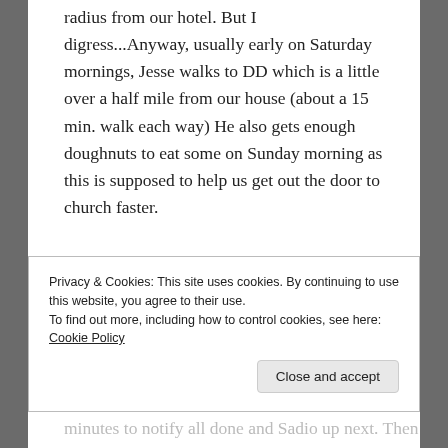radius from our hotel. But I digress...Anyway, usually early on Saturday mornings, Jesse walks to DD which is a little over a half mile from our house (about a 15 min. walk each way) He also gets enough doughnuts to eat some on Sunday morning as this is supposed to help us get out the door to church faster.
My job is to get the rest of us ready for the day—tights, leotard, soccer jersey, and shorts—amidst sibling squabbles, missing shoes, and distractions of the one-year-old dropping the tv remote down the toilet. Around 10 a.m. One of us calls a Lyft or
Privacy & Cookies: This site uses cookies. By continuing to use this website, you agree to their use.
To find out more, including how to control cookies, see here: Cookie Policy
Close and accept